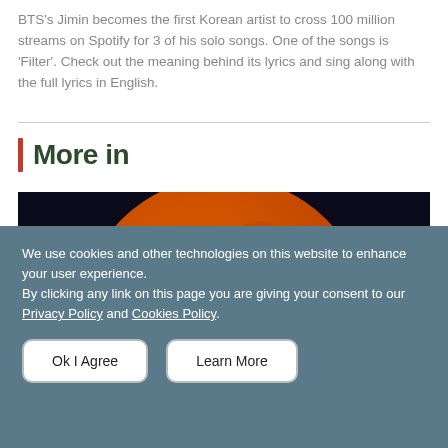BTS's Jimin becomes the first Korean artist to cross 100 million streams on Spotify for 3 of his solo songs. One of the songs is 'Filter'. Check out the meaning behind its lyrics and sing along with the full lyrics in English.
More in
[Figure (photo): Large orange-red full moon against a dark night sky, with a silhouette of a person at the bottom]
We use cookies and other technologies on this website to enhance your user experience.
By clicking any link on this page you are giving your consent to our Privacy Policy and Cookies Policy.